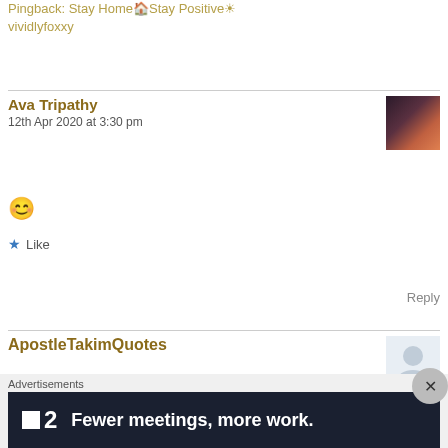Pingback: Stay Home🏠Stay Positive☀ vividlyfoxxy
Ava Tripathy
12th Apr 2020 at 3:30 pm
[Figure (photo): Avatar thumbnail for Ava Tripathy, dark reddish-brown tones with silhouette]
😊
★ Like
Reply
ApostleTakimQuotes
[Figure (photo): Avatar thumbnail for ApostleTakimQuotes]
Advertisements
[Figure (screenshot): Advertisement banner: dark background, logo showing a square and number 2, text reading 'Fewer meetings, more work.']